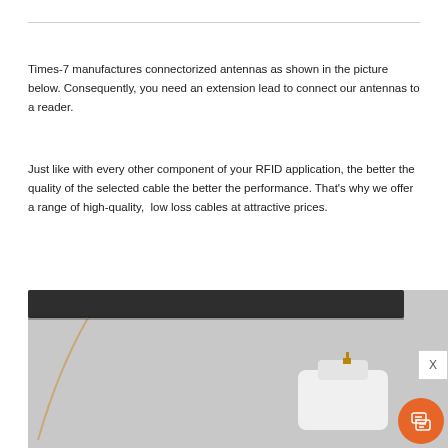Times-7 manufactures connectorized antennas as shown in the picture below. Consequently, you need an extension lead to connect our antennas to a reader.
Just like with every other component of your RFID application, the better the quality of the selected cable the better the performance. That's why we offer a range of high-quality, low loss cables at attractive prices.
[Figure (photo): Photo of a connectorized RFID antenna — a long dark bar (the antenna element) mounted on a white bracket/housing with a thin coaxial cable lead visible on the left side.]